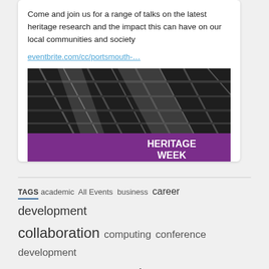Come and join us for a range of talks on the latest heritage research and the impact this can have on our local communities and society
eventbrite.com/cc/portsmouth-…
[Figure (photo): Black and white industrial/heritage photograph with purple banner overlay reading HERITAGE WEEK]
TAGS academic All Events business career development collaboration computing conference development Entrepreneurship environment Ethics event Female Entrepreneurs Funding future governance health healthcare hospital ideas IMPACT information InnovateUK innovation